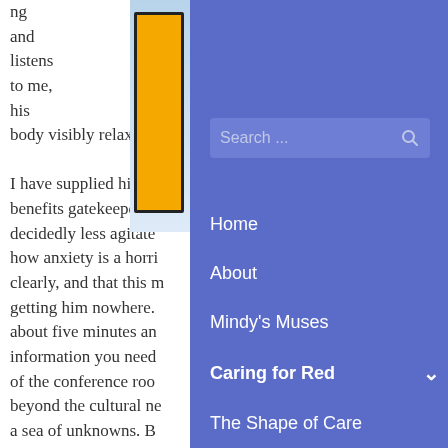ng and listens to me, his body visibly relaxing. I have supplied him, benefits gatekeeper a decidedly less agitate how anxiety is a horri clearly, and that this m getting him nowhere. about five minutes an information you need of the conference roo beyond the cultural ne a sea of unknowns. B space as a silent wait
[Figure (illustration): Partial view of a yellow illustrated image with black border on light blue background]
[Figure (screenshot): Navigation menu overlay with purple/blue background showing search bar and navigation links: Home, About, Mindy's Muses, Caring for Red (bold, active), The Shape of Care, Arbor Consulting Partners, IP Porchfest]
Home
About
Mindy's Muses
Caring for Red
The Shape of Care
Arbor Consulting Partners
IP Porchfest